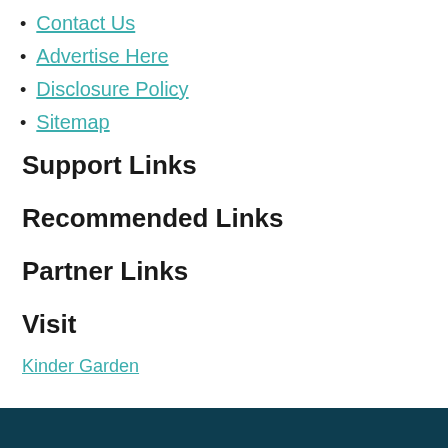Contact Us
Advertise Here
Disclosure Policy
Sitemap
Support Links
Recommended Links
Partner Links
Visit
Kinder Garden